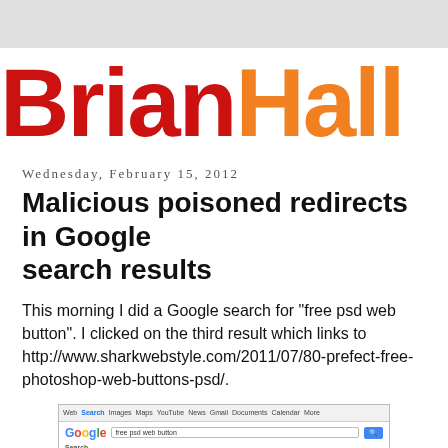BrianHall
Wednesday, February 15, 2012
Malicious poisoned redirects in Google search results
This morning I did a Google search for "free psd web button". I clicked on the third result which links to http://www.sharkwebstyle.com/2011/07/80-prefect-free-photoshop-web-buttons-psd/.
[Figure (screenshot): Screenshot of Google search results page showing search for 'free psd web button' with several results listed]